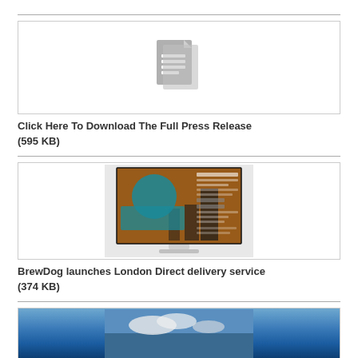[Figure (screenshot): Document/file icon placeholder image in a bordered box]
Click Here To Download The Full Press Release (595 KB)
[Figure (screenshot): Screenshot of BrewDog London Direct website displayed on an iMac monitor]
BrewDog launches London Direct delivery service (374 KB)
[Figure (screenshot): Partial third image/screenshot at bottom of page]